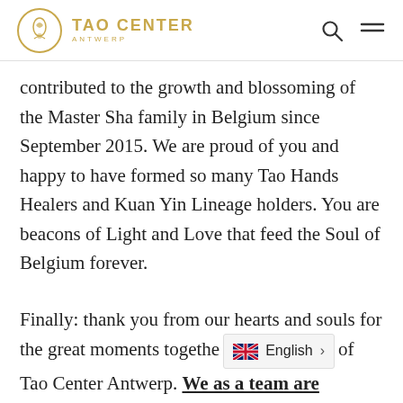Tao Center Antwerp
contributed to the growth and blossoming of the Master Sha family in Belgium since September 2015. We are proud of you and happy to have formed so many Tao Hands Healers and Kuan Yin Lineage holders. You are beacons of Light and Love that feed the Soul of Belgium forever.

Finally: thank you from our hearts and souls for the great moments together of Tao Center Antwerp. We as a team are